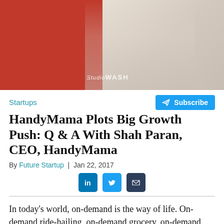[Figure (photo): Photo of a man in a white jacket against a red background, with Studio WASH watermark]
Startups
Subscribe
HandyMama Plots Big Growth Push: Q & A With Shah Paran, CEO, HandyMama
By Future Startup | Jan 22, 2017
In today's world, on-demand is the way of life. On-demand ride-hailing, on-demand grocery, on-demand services to on-demand